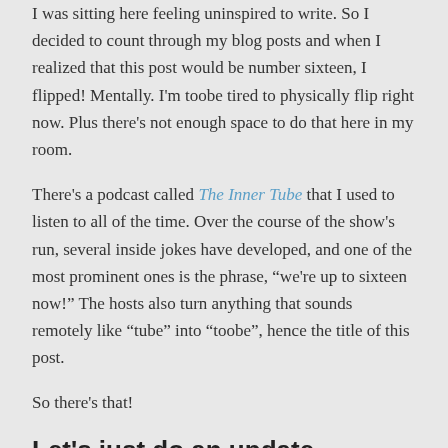I was sitting here feeling uninspired to write. So I decided to count through my blog posts and when I realized that this post would be number sixteen, I flipped! Mentally. I'm toobe tired to physically flip right now. Plus there's not enough space to do that here in my room.
There's a podcast called The Inner Tube that I used to listen to all of the time. Over the course of the show's run, several inside jokes have developed, and one of the most prominent ones is the phrase, "we're up to sixteen now!" The hosts also turn anything that sounds remotely like "tube" into "toobe", hence the title of this post.
So there's that!
Let's just do an update.